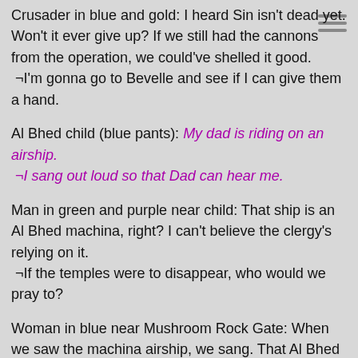Crusader in blue and gold: I heard Sin isn't dead yet. Won't it ever give up? If we still had the cannons from the operation, we could've shelled it good.
¬I'm gonna go to Bevelle and see if I can give them a hand.
Al Bhed child (blue pants): My dad is riding on an airship.
¬I sang out loud so that Dad can hear me.
Man in green and purple near child: That ship is an Al Bhed machina, right? I can't believe the clergy's relying on it.
¬If the temples were to disappear, who would we pray to?
Woman in blue near Mushroom Rock Gate: When we saw the machina airship, we sang. That Al Bhed kid did, too. It's strange how we can all sing the same song even though we don't speak the same language.